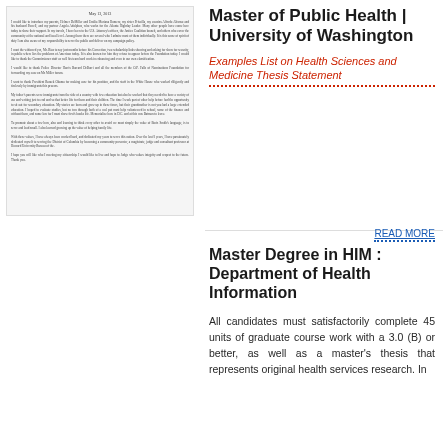[Figure (other): Scanned letter document with small printed text, appears to be a personal or professional letter]
Master of Public Health | University of Washington
Examples List on Health Sciences and Medicine Thesis Statement
READ MORE
Master Degree in HIM : Department of Health Information
All candidates must satisfactorily complete 45 units of graduate course work with a 3.0 (B) or better, as well as a master's thesis that represents original health services research. In